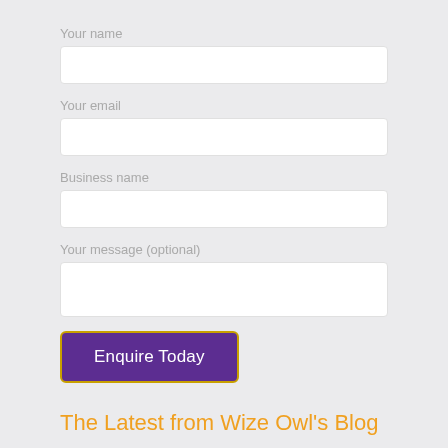Your name
Your email
Business name
Your message (optional)
Enquire Today
The Latest from Wize Owl's Blog